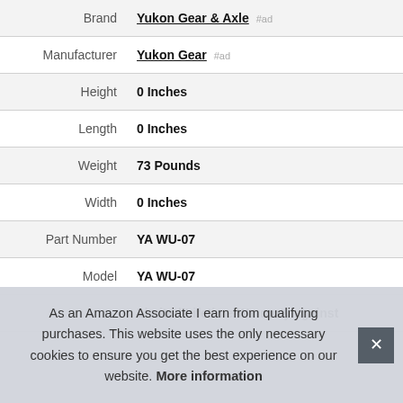| Attribute | Value |
| --- | --- |
| Brand | Yukon Gear & Axle #ad |
| Manufacturer | Yukon Gear #ad |
| Height | 0 Inches |
| Length | 0 Inches |
| Weight | 73 Pounds |
| Width | 0 Inches |
| Part Number | YA WU-07 |
| Model | YA WU-07 |
|  | Limited Lifetime Warranty against |
As an Amazon Associate I earn from qualifying purchases. This website uses the only necessary cookies to ensure you get the best experience on our website. More information